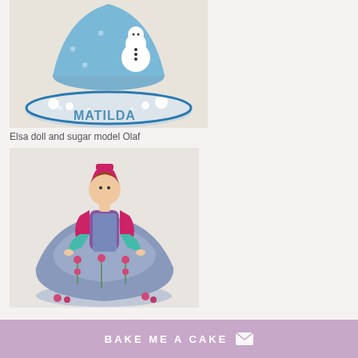[Figure (photo): A decorated birthday cake with a blue ice-mountain fondant and a sugar model of Olaf the snowman, with the name MATILDA written in blue letters around the base]
Elsa doll and sugar model Olaf
[Figure (photo): An Anna doll cake from Frozen, with the doll's upper body protruding from a blue fondant bell-shaped skirt decorated with pink flowers and green stems]
BAKE ME A CAKE